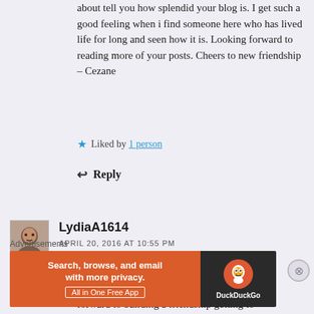about tell you how splendid your blog is. I get such a good feeling when i find someone here who has lived life for long and seen how it is. Looking forward to reading more of your posts. Cheers to new friendship – Cezane
★ Liked by 1 person
↩ Reply
LydiaA1614
APRIL 20, 2016 AT 10:55 PM
I enjoyed visiting your site and I, too, look forward to building a friendship getting to know
Advertisements
[Figure (screenshot): DuckDuckGo advertisement banner: orange left section with text 'Search, browse, and email with more privacy. All in One Free App', dark right section with DuckDuckGo logo duck icon and DuckDuckGo text]